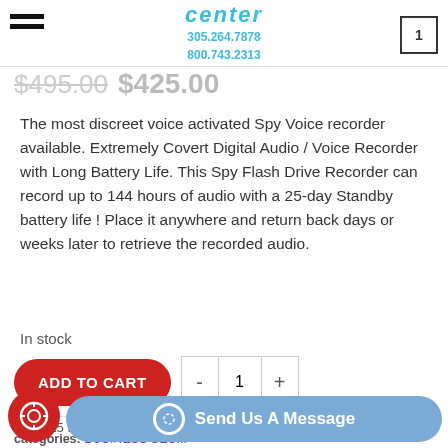center 305.264.7878 800.743.2313 [cart: 1]
$495.00 $425.00
The most discreet voice activated Spy Voice recorder available. Extremely Covert Digital Audio / Voice Recorder with Long Battery Life. This Spy Flash Drive Recorder can record up to 144 hours of audio with a 25-day Standby battery life ! Place it anywhere and return back days or weeks later to retrieve the recorded audio.
In stock
ADD TO CART  - 1 +
SKU: 25 Day Flash Drive Voice Activated Spy Audio Recorder USB
Categories: BUSINESS SEC...
Tags: 25 day usb spy, usb audio spy, usb spy recorder
Send Us A Message